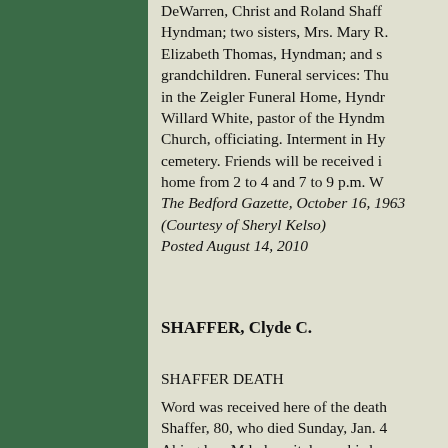DeWarren, Christ and Roland Shaffer, Hyndman; two sisters, Mrs. Mary R... Elizabeth Thomas, Hyndman; and several grandchildren. Funeral services: Thursday in the Zeigler Funeral Home, Hyndman, Willard White, pastor of the Hyndman Church, officiating. Interment in Hyndman cemetery. Friends will be received in the home from 2 to 4 and 7 to 9 p.m. We...
The Bedford Gazette, October 16, 1963
(Courtesy of Sheryl Kelso)
Posted August 14, 2010
SHAFFER, Clyde C.
SHAFFER DEATH
Word was received here of the death of Shaffer, 80, who died Sunday, Jan. 4... Abingdon, Md., hospital near his home...